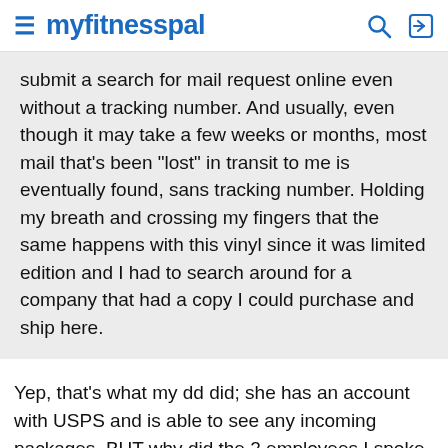myfitnesspal
submit a search for mail request online even without a tracking number. And usually, even though it may take a few weeks or months, most mail that's been "lost" in transit to me is eventually found, sans tracking number. Holding my breath and crossing my fingers that the same happens with this vinyl since it was limited edition and I had to search around for a company that had a copy I could purchase and ship here.
Yep, that's what my dd did; she has an account with USPS and is able to see any incoming packages. BUT why did the 2 employees I spoke with locally, not know a person can do that? Not